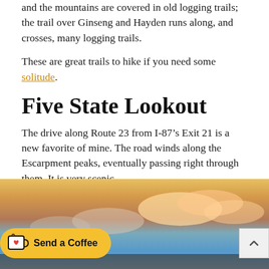and the mountains are covered in old logging trails; the trail over Ginseng and Hayden runs along, and crosses, many logging trails.
These are great trails to hike if you need some solitude.
Five State Lookout
The drive along Route 23 from I-87’s Exit 21 is a new favorite of mine. The road winds along the Escarpment peaks, eventually passing right through them. It is very scenic.
In Durso Corner, a spot on the right side of the road called The Five State Lookout is worth pulling into.
[Figure (photo): A scenic outdoor photo showing a sky with clouds and warm sunset-like colors in orange and blue tones. Overlaid is a yellow 'Send a Coffee' button with a coffee cup icon, and a scroll-up arrow button on the right.]